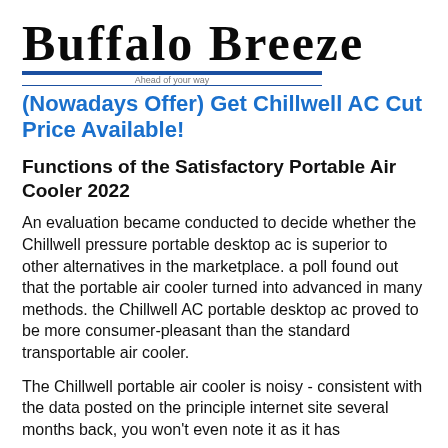Buffalo Breeze
(Nowadays Offer) Get Chillwell AC Cut Price Available!
Functions of the Satisfactory Portable Air Cooler 2022
An evaluation became conducted to decide whether the Chillwell pressure portable desktop ac is superior to other alternatives in the marketplace. a poll found out that the portable air cooler turned into advanced in many methods. the Chillwell AC portable desktop ac proved to be more consumer-pleasant than the standard transportable air cooler.
The Chillwell portable air cooler is noisy - consistent with the data posted on the principle internet site several months back, you won't even note it as it has